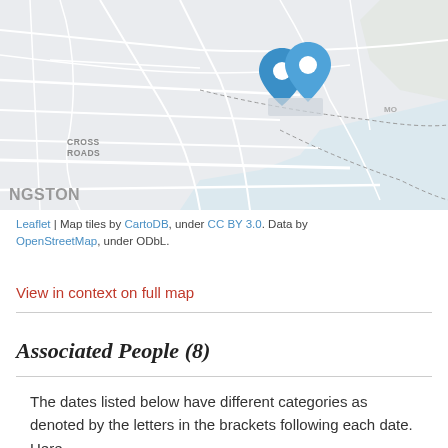[Figure (map): A street map showing an area with CROSS ROADS and NGSTON (Kingston) labels visible. Two blue map pin markers are placed in the upper-center area of the map near what appears to be a waterfront region. The map uses CartoDB tiles and shows roads, neighborhoods, and coastline.]
Leaflet | Map tiles by CartoDB, under CC BY 3.0. Data by OpenStreetMap, under ODbL.
View in context on full map
Associated People (8)
The dates listed below have different categories as denoted by the letters in the brackets following each date. Here